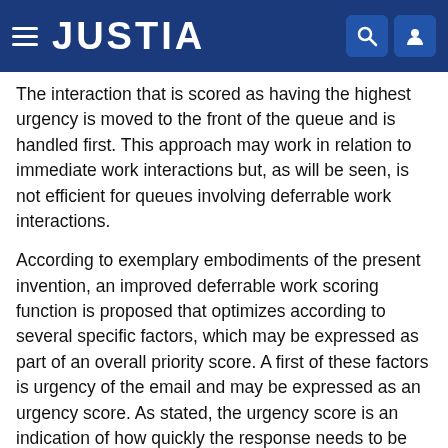JUSTIA
The interaction that is scored as having the highest urgency is moved to the front of the queue and is handled first. This approach may work in relation to immediate work interactions but, as will be seen, is not efficient for queues involving deferrable work interactions.
According to exemplary embodiments of the present invention, an improved deferrable work scoring function is proposed that optimizes according to several specific factors, which may be expressed as part of an overall priority score. A first of these factors is urgency of the email and may be expressed as an urgency score. As stated, the urgency score is an indication of how quickly the response needs to be provided. The urgency score may be based on the results of the above-described NLP analysis, with the provided inputs from this analysis that